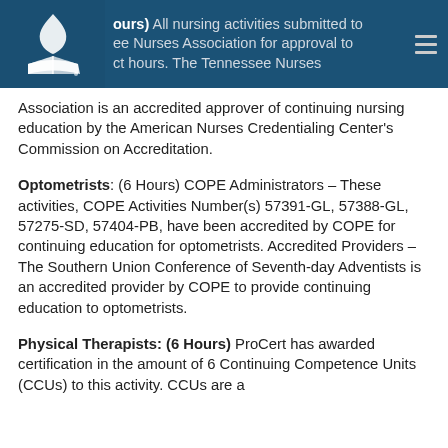ours) All nursing activities submitted to ee Nurses Association for approval to ct hours. The Tennessee Nurses Association is an accredited approver of continuing nursing education by the American Nurses Credentialing Center's Commission on Accreditation.
Optometrists: (6 Hours) COPE Administrators – These activities, COPE Activities Number(s) 57391-GL, 57388-GL, 57275-SD, 57404-PB, have been accredited by COPE for continuing education for optometrists. Accredited Providers – The Southern Union Conference of Seventh-day Adventists is an accredited provider by COPE to provide continuing education to optometrists.
Physical Therapists: (6 Hours) ProCert has awarded certification in the amount of 6 Continuing Competence Units (CCUs) to this activity. CCUs are a